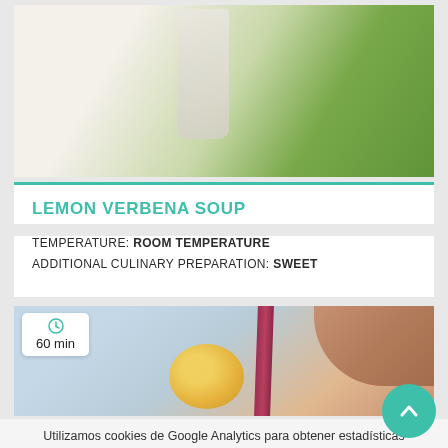[Figure (photo): Photo of lemon verbena herb sprigs next to a glass smoothie/drink on a light background]
LEMON VERBENA SOUP
TEMPERATURE: ROOM TEMPERATURE
ADDITIONAL CULINARY PREPARATION: SWEET
[Figure (photo): Photo of a lemon slice and red straw in a drink, with a hand/finger visible, overlaid with a time badge showing 60 min]
Utilizamos cookies de Google Analytics para obtener estadísticas anónimas de uso y visitas de nuestra web. Al continuar su visita en este sitio, acepta el uso de cookies.
ACEPTAR
Más información